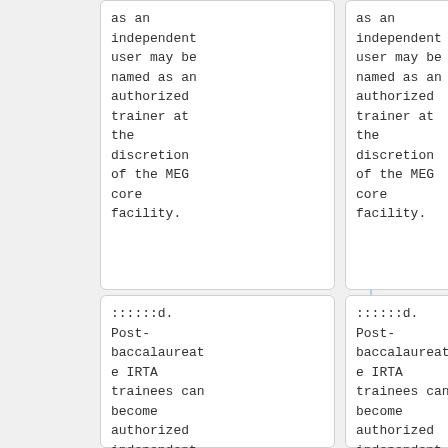as an independent user may be named as an authorized trainer at the discretion of the MEG core facility.
as an independent user may be named as an authorized trainer at the discretion of the MEG core facility.
::::::d. Post-baccalaureate IRTA trainees can become authorized independent users, although
::::::d. Post-baccalaureate IRTA trainees can become authorized independent users, although